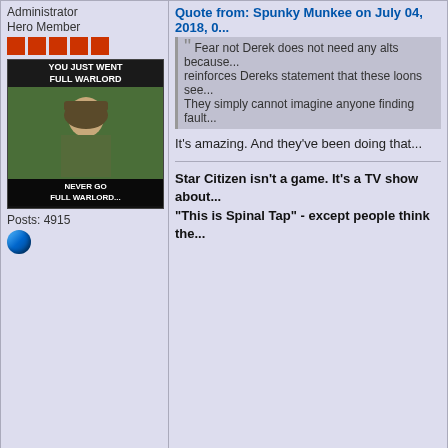Administrator
Hero Member
[Figure (photo): Avatar image: 'You just went full warlord. Never go full warlord.' meme with soldier in green background]
Posts: 4915
[Figure (illustration): Globe/web icon]
Quote from: Spunky Munkee on July 04, 2018, 0...
Fear not Derek does not need any alts because... reinforces Dereks statement that these loons see... They simply cannot imagine anyone finding fault...
It's amazing. And they've been doing that...
Star Citizen isn't a game. It's a TV show about... "This is Spinal Tap" - except people think the...
helimoth
Full Member
Posts: 120
Re: Star Citizen - Breaking News
« Reply #393 on: July 05, 2018, 04:44:14...
As Derek has been right for many years n... measure the distance between the SC pr... current day in right years?
Motto
Hero Member
Re: Star Citizen - Breaking News
« Reply #394 on: July 05, 2018, 04:52:58...
I want to know more about the Feds bei...